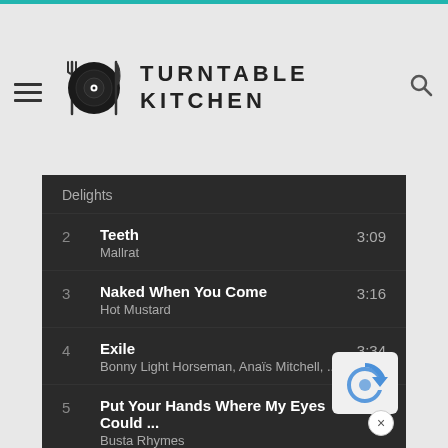Turntable Kitchen
| # | Title / Artist | Duration |
| --- | --- | --- |
|  | Delights |  |
| 2 | Teeth / Mallrat | 3:09 |
| 3 | Naked When You Come / Hot Mustard | 3:16 |
| 4 | Exile / Bonny Light Horseman, Anaïs Mitchell, ... | 3:34 |
| 5 | Put Your Hands Where My Eyes Could ... / Busta Rhymes | 3:14 |
| 6 | Baby Don't You Know / CIEL | 2:11 |
| 7 | Je suis une Go-Go Girl / The Limiñanas | 4:0_ |
| 8 | Beast Of Burden - Remastered 1994 | 4:2_ |